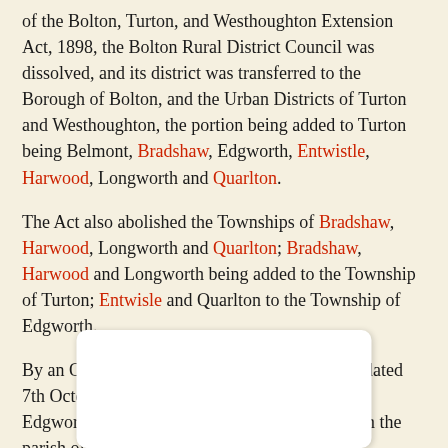of the Bolton, Turton, and Westhoughton Extension Act, 1898, the Bolton Rural District Council was dissolved, and its district was transferred to the Borough of Bolton, and the Urban Districts of Turton and Westhoughton, the portion being added to Turton being Belmont, Bradshaw, Edgworth, Entwistle, Harwood, Longworth and Quarlton.
The Act also abolished the Townships of Bradshaw, Harwood, Longworth and Quarlton; Bradshaw, Harwood and Longworth being added to the Township of Turton; Entwisle and Quarlton to the Township of Edgworth.
By an Order of the Lancashire County Council dated 7th October 1924, the Townships of Belmont, Edgworth and Turton were united, and now form the parish of Turton.
[Figure (other): White rounded rectangle placeholder image area at the bottom of the page]